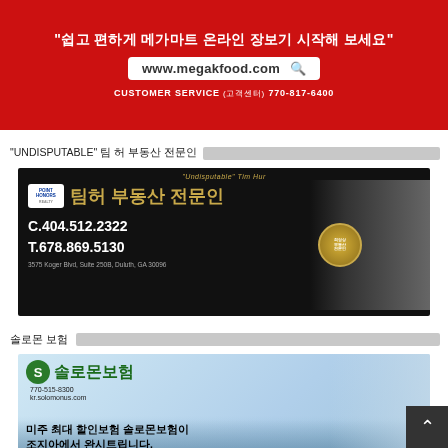[Figure (photo): Red advertisement banner for Mega K Food online grocery. Text: '쉽고 편하게 메가마트 온라인 장보기 시작해 보세요', URL www.megakfood.com, CUSTOMER SERVICE (고객센터) 770-817-6400]
"UNDISPUTABLE" 팀 허 부동산 전문인
[Figure (photo): Real estate agent advertisement for Tim Hur. Black background. Heading: 'Undisputable Tim Hur 팀허 부동산 전문인'. Phone C.404.512.2322, T.678.869.5130. Address: 3575 Koger Blvd, Suite 250B, Duluth, GA 30096. Point Homers logo. Award seal visible. Photo of young Asian man in suit.]
솔로몬 보험
[Figure (photo): Solomon Insurance advertisement. Green logo with Korean text 솔로몬보험. Phone 770-515-8300, website kr.solomonus.com. Korean text: 미주 최대 할인보험 솔로몬보험이 조지아에서 완시트립니다. Address: 3483 Satellite BLVD, Suite 308 South, Duluth, GA 30096. Cityscape background with Atlanta skyline. Woman in white jacket.]